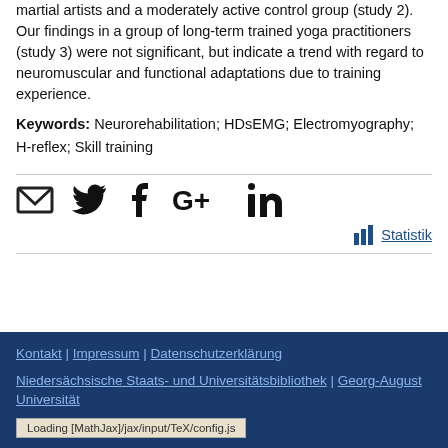martial artists and a moderately active control group (study 2). Our findings in a group of long-term trained yoga practitioners (study 3) were not significant, but indicate a trend with regard to neuromuscular and functional adaptations due to training experience.
Keywords: Neurorehabilitation; HDsEMG; Electromyography; H-reflex; Skill training
[Figure (infographic): Social sharing icons: email, Twitter, Facebook, Google+, LinkedIn]
Statistik
Kontakt | Impressum | Datenschutzerklärung
Niedersächsische Staats- und Universitätsbibliothek | Georg-August Universität
Loading [MathJax]/jax/input/TeX/config.js